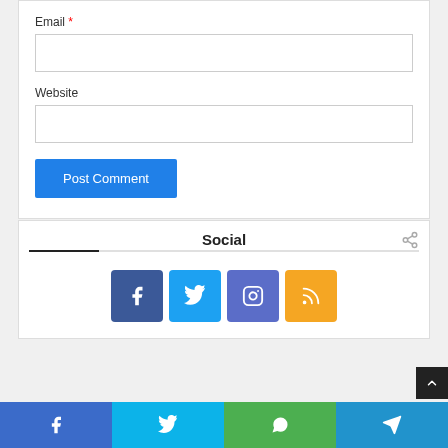Email *
Website
Post Comment
Social
[Figure (infographic): Four social media icon buttons: Facebook (dark blue), Twitter (light blue), Instagram (medium blue), RSS (orange)]
[Figure (infographic): Bottom share bar with four sections: Facebook (blue), Twitter (cyan), WhatsApp (green), Telegram (blue) each with white icon]